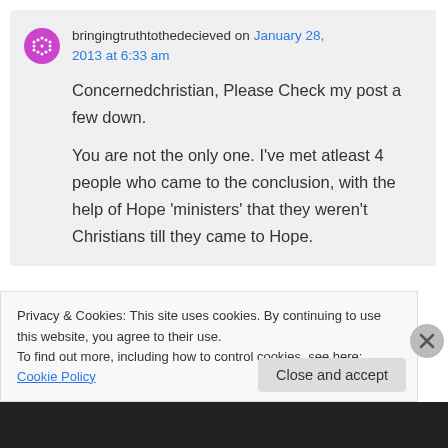bringingtruthtothedecieved on January 28, 2013 at 6:33 am
Concernedchristian, Please Check my post a few down. You are not the only one. I've met atleast 4 people who came to the conclusion, with the help of Hope 'ministers' that they weren't Christians till they came to Hope.
Privacy & Cookies: This site uses cookies. By continuing to use this website, you agree to their use. To find out more, including how to control cookies, see here: Cookie Policy
Close and accept